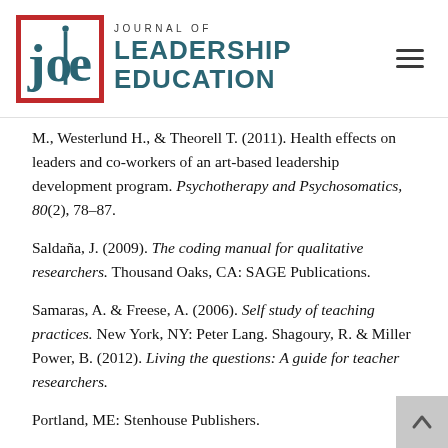Journal of Leadership Education
M., Westerlund H., & Theorell T. (2011). Health effects on leaders and co-workers of an art-based leadership development program. Psychotherapy and Psychosomatics, 80(2), 78–87.
Saldaña, J. (2009). The coding manual for qualitative researchers. Thousand Oaks, CA: SAGE Publications.
Samaras, A. & Freese, A. (2006). Self study of teaching practices. New York, NY: Peter Lang. Shagoury, R. & Miller Power, B. (2012). Living the questions: A guide for teacher researchers.
Portland, ME: Stenhouse Publishers.
Snyder, R. A. (2014). Let's burn them all: Reflections on the learning-inhibitory nature of introduction to